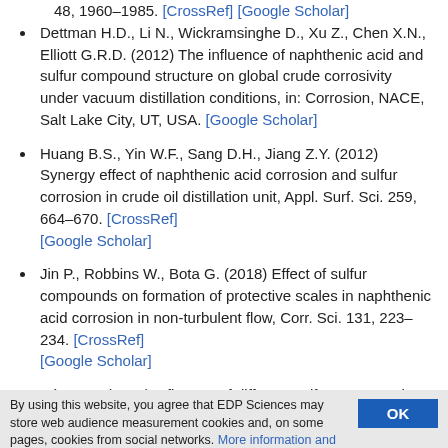48, 1960–1985. [CrossRef] [Google Scholar]
Dettman H.D., Li N., Wickramsinghe D., Xu Z., Chen X.N., Elliott G.R.D. (2012) The influence of naphthenic acid and sulfur compound structure on global crude corrosivity under vacuum distillation conditions, in: Corrosion, NACE, Salt Lake City, UT, USA. [Google Scholar]
Huang B.S., Yin W.F., Sang D.H., Jiang Z.Y. (2012) Synergy effect of naphthenic acid corrosion and sulfur corrosion in crude oil distillation unit, Appl. Surf. Sci. 259, 664–670. [CrossRef] [Google Scholar]
Jin P., Robbins W., Bota G. (2018) Effect of sulfur compounds on formation of protective scales in naphthenic acid corrosion in non-turbulent flow, Corr. Sci. 131, 223–234. [CrossRef] [Google Scholar]
Yépez O. (2005) Influence of different sulfur compounds on corrosion due to naphthenic acid, Fuel 84, 97–104. [CrossRef] [Google Scholar]
Timmins P.F. (1996) Predictive corrosion and failure control in
By using this website, you agree that EDP Sciences may store web audience measurement cookies and, on some pages, cookies from social networks. More information and setup